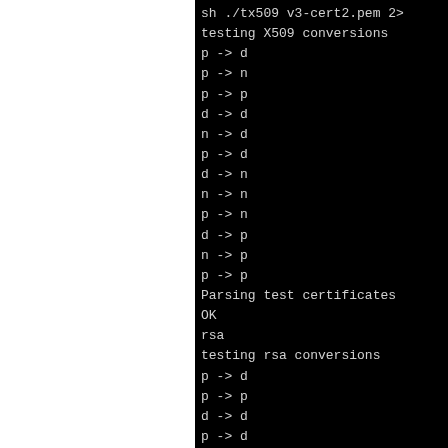[Figure (screenshot): Terminal/console output showing X509 conversion tests and RSA conversion tests. Left portion of screen is white (possibly a split screen or window edge). Right black terminal area shows test output lines.]
sh ./tx509 v3-cert2.pem 2>
testing X509 conversions
p -> d
p -> n
p -> p
d -> d
n -> d
p -> d
d -> n
n -> n
p -> n
d -> p
n -> p
p -> p
Parsing test certificates
OK
rsa
testing rsa conversions
p -> d
p -> p
d -> d
p -> d
d -> p
p -> p